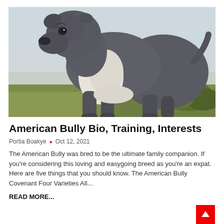[Figure (photo): An American Bully dog standing in a field, muscular grey and white dog viewed from the side, looking upward, outdoors with green grass and shrubs in background]
American Bully Bio, Training, Interests
Portia Boakye  •  Oct 12, 2021
The American Bully was bred to be the ultimate family companion. If you're considering this loving and easygoing breed as you're an expat. Here are five things that you should know. The American Bully Covenant Four Varieties All...
READ MORE...